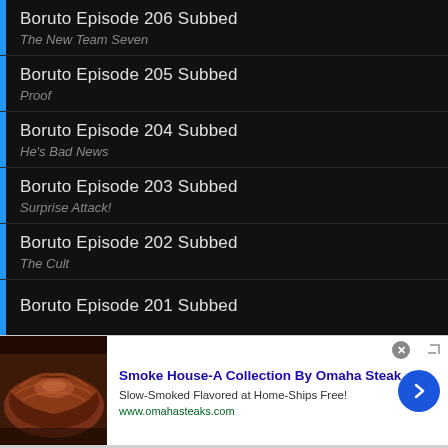Boruto Episode 206 Subbed
The New Team Seven
Boruto Episode 205 Subbed
Proof
Boruto Episode 204 Subbed
He's Bad News
Boruto Episode 203 Subbed
Surprise Attack!
Boruto Episode 202 Subbed
The Cult
Boruto Episode 201 Subbed
[Figure (infographic): Advertisement banner for Omaha Steaks showing smoked meat image, title 'Smoke House-A Collection By Omaha Steak', subtitle 'Slow-Smoked Flavored at Home-Ships Free!', URL www.omahasteaks.com, with a blue circular arrow button and close X button]